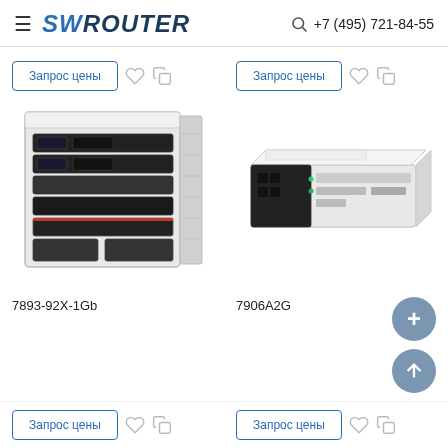SWROUTER — +7 (495) 721-84-55
Запрос цены (top left button)
Запрос цены (top right button)
[Figure (photo): IBM blade server chassis with multiple blade modules installed, black and grey coloring, front view]
[Figure (photo): IBM blade server module, 2U rack-mounted, white/silver with black front panel, side perspective view]
7893-92X-1Gb
7906A2G
Запрос цены (bottom left button)
Запрос цены (bottom right button)